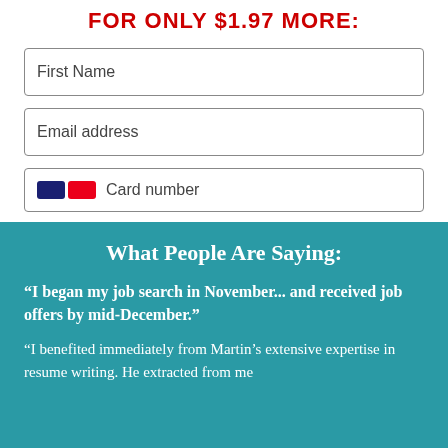FOR ONLY $1.97 MORE:
First Name
Email address
Card number
Pay  CA$11.94
What People Are Saying:
“I began my job search in November... and received job offers by mid-December.”
“I benefited immediately from Martin’s extensive expertise in resume writing. He extracted from me